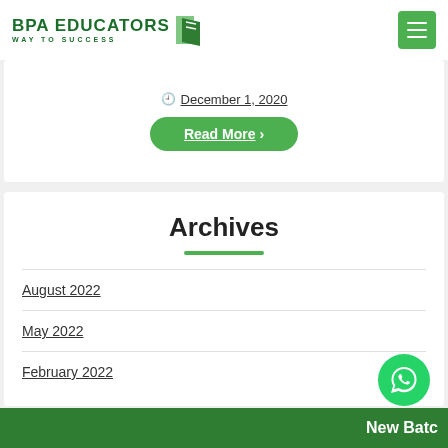[Figure (logo): BPA Educators logo with green book icon and tagline 'WAY TO SUCCESS']
[Figure (other): Green hamburger menu button]
December 1, 2020
Read More >
Archives
August 2022
May 2022
February 2022
New Batc...